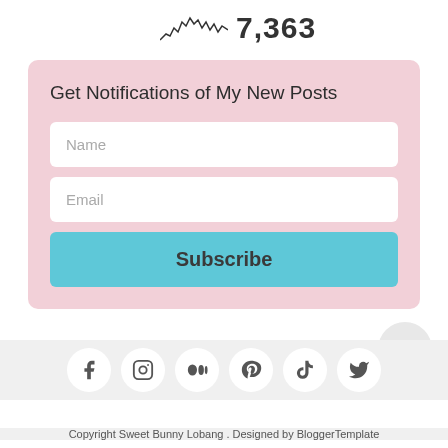[Figure (other): Sparkline chart thumbnail showing page view activity]
7,363
Get Notifications of My New Posts
Name
Email
Subscribe
[Figure (other): Hamburger menu button (three horizontal lines) in a light gray circle]
[Figure (other): Social media icons row: Facebook, Instagram, Medium, Pinterest, TikTok, Twitter]
Copyright Sweet Bunny Lobang . Designed by BloggerTemplate